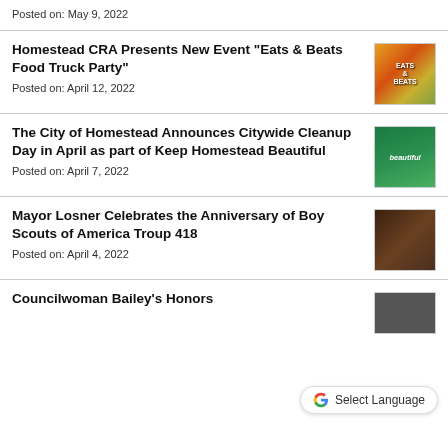Posted on: May 9, 2022
Homestead CRA Presents New Event “Eats & Beats Food Truck Party”
Posted on: April 12, 2022
[Figure (photo): Colorful flyer for Eats & Beats Food Truck Party event]
The City of Homestead Announces Citywide Cleanup Day in April as part of Keep Homestead Beautiful
Posted on: April 7, 2022
[Figure (photo): Green promotional graphic for Keep Homestead Beautiful with text 'beautiful']
Mayor Losner Celebrates the Anniversary of Boy Scouts of America Troup 418
Posted on: April 4, 2022
[Figure (photo): Photo of Mayor Losner with Boy Scouts group]
Councilwoman Bailey’s Honors
[Figure (photo): Photo related to Councilwoman Bailey]